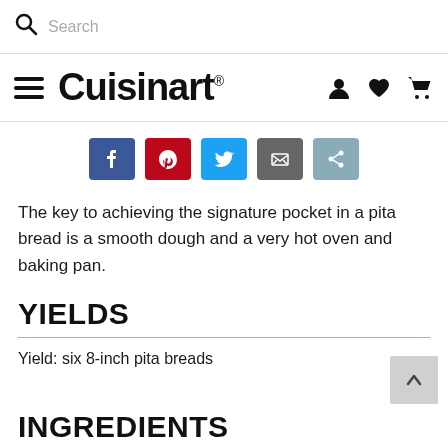Search
[Figure (logo): Cuisinart logo with hamburger menu icon and navigation icons (user, heart, cart)]
[Figure (infographic): Social sharing buttons: Facebook, Pinterest, Twitter, Email, Share]
The key to achieving the signature pocket in a pita bread is a smooth dough and a very hot oven and baking pan.
YIELDS
Yield: six 8-inch pita breads
INGREDIENTS